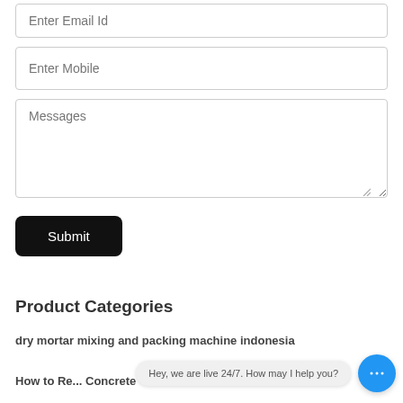[Figure (screenshot): Form input field with placeholder text 'Enter Email Id']
[Figure (screenshot): Form input field with placeholder text 'Enter Mobile']
[Figure (screenshot): Form textarea with placeholder text 'Messages' and resize handle]
Submit
Product Categories
dry mortar mixing and packing machine indonesia
How to Re... Concrete
Hey, we are live 24/7. How may I help you?